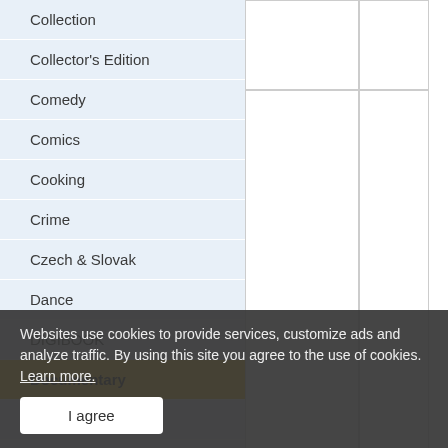Collection
Collector's Edition
Comedy
Comics
Cooking
Crime
Czech & Slovak
Dance
DIGIBOOK
Documentary
Drama
Educational
Erotic
Family
Fantasy
[Figure (screenshot): Product card: The Mystery of Sklep Theater - A Guide to Saving the World (DVD), priced at 99 CZK]
[Figure (screenshot): Partial product card: Kabát (title partially visible)]
Websites use cookies to provide services, customize ads and analyze traffic. By using this site you agree to the use of cookies. Learn more.
I agree